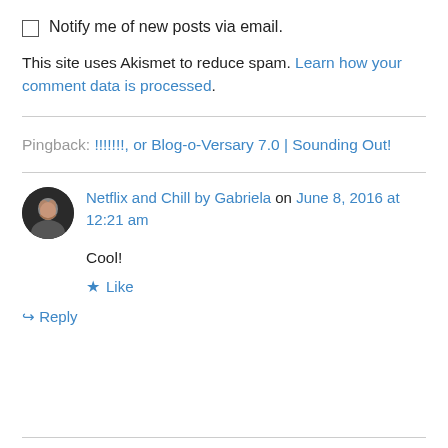☐ Notify me of new posts via email.
This site uses Akismet to reduce spam. Learn how your comment data is processed.
Pingback: !!!!!!!, or Blog-o-Versary 7.0 | Sounding Out!
Netflix and Chill by Gabriela on June 8, 2016 at 12:21 am
Cool!
★ Like
↪ Reply